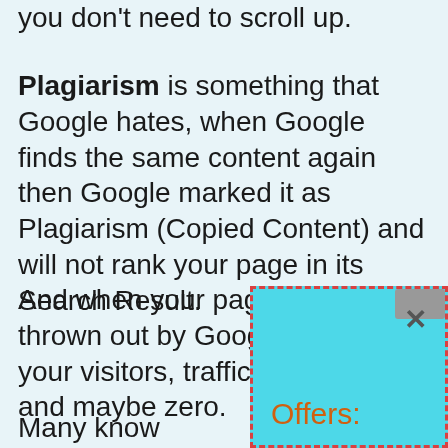you don't need to scroll up.
Plagiarism is something that Google hates, when Google finds the same content again then Google marked it as Plagiarism (Copied Content) and will not rank your page in its Search Result.
And when your page will be thrown out by Google, definitely your visitors, traffic will be down and maybe zero.
Many know
[Figure (screenshot): A popup overlay with cyan/teal background and red dashed border, showing 'Offers:' label in orange, with an X close button and a gray scrollbar in the top right.]